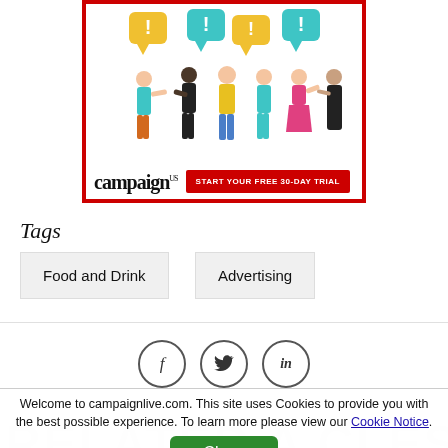[Figure (illustration): Advertisement banner for Campaign US with illustrated people holding speech bubbles with exclamation marks, with text 'START YOUR FREE 30-DAY TRIAL']
Tags
Food and Drink
Advertising
[Figure (illustration): Social media share icons: Facebook (f), Twitter (bird), LinkedIn (in) in circular outlines]
Welcome to campaignlive.com. This site uses Cookies to provide you with the best possible experience. To learn more please view our Cookie Notice.
RELATED ARTICLES